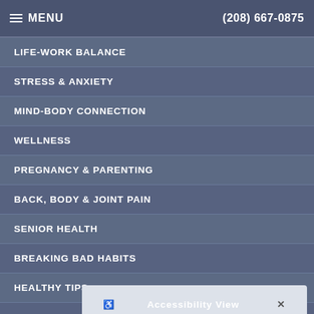MENU  (208) 667-0875
LIFE-WORK BALANCE
STRESS & ANXIETY
MIND-BODY CONNECTION
WELLNESS
PREGNANCY & PARENTING
BACK, BODY & JOINT PAIN
SENIOR HEALTH
BREAKING BAD HABITS
HEALTHY TIPS
EXERCISE & FITNESS
Accessibility View